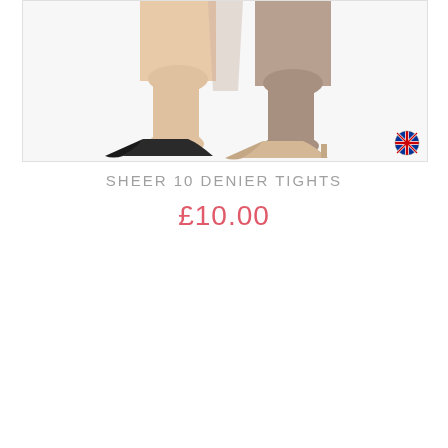[Figure (photo): Product photo showing a woman's legs wearing sheer tights, with nude/beige high heel shoes. The image shows two overlapping views of legs against a white background. Small UK flag logo visible in bottom right corner of image.]
SHEER 10 DENIER TIGHTS
£10.00